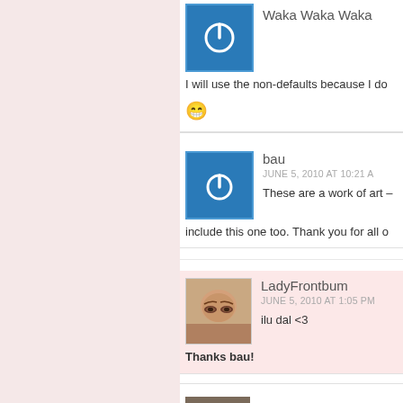[Figure (illustration): Blue avatar with power button icon for user 'Waka Waka Waka', partially visible at top]
Waka Waka Waka
I will use the non-defaults because I do
[Figure (illustration): Smiley face emoji]
[Figure (illustration): Blue avatar with power button icon for user 'bau']
bau
JUNE 5, 2010 AT 10:21 A
These are a work of art – include this one too. Thank you for all o
[Figure (photo): Photo avatar of LadyFrontbum showing a woman's eyes and face]
LadyFrontbum
JUNE 5, 2010 AT 1:05 PM
ilu dal <3
Thanks bau!